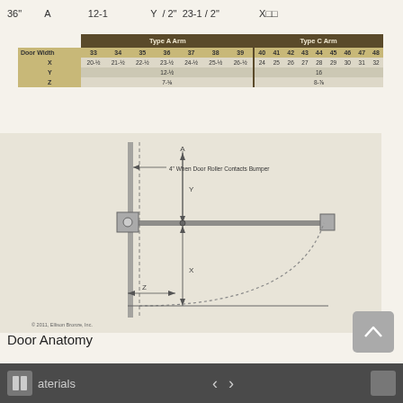36"  A  12-1  Y / 2"  23-1/2"  X
| Door Width | 33 | 34 | 35 | 36 | 37 | 38 | 39 | 40 | 41 | 42 | 43 | 44 | 45 | 46 | 47 | 48 |
| --- | --- | --- | --- | --- | --- | --- | --- | --- | --- | --- | --- | --- | --- | --- | --- | --- |
| X | 20-½ | 21-½ | 22-½ | 23-½ | 24-½ | 25-½ | 26-½ | 24 | 25 | 26 | 27 | 28 | 29 | 30 | 31 | 32 |
| Y | 12-½ | 16 |
| Z | 7-⅛ | 8-⅞ |
[Figure (engineering-diagram): Technical diagram showing door closer arm geometry with dimensions X, Y, Z labeled. Shows '4" When Door Roller Contacts Bumper' annotation. Door shown in plan view with arc indicating swing path. Copyright 2011, Ellison Bronze, Inc.]
Door Anatomy